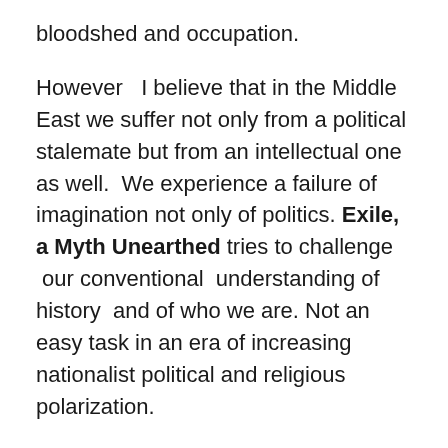bloodshed and occupation.
However   I believe that in the Middle East we suffer not only from a political stalemate but from an intellectual one as well.  We experience a failure of imagination not only of politics. Exile, a Myth Unearthed tries to challenge  our conventional  understanding of history  and of who we are. Not an easy task in an era of increasing nationalist political and religious polarization.
I believe that the Palestine Solidarity ‘ open letter wants to help get Exile and its message to be broadcast and discussed in the United Kingdom. I am not sure however that their petition is the best help to achieve this goal.
I am pleading with all those who supported me in the past and believe in Exile, as a tool to open, so badly needed,